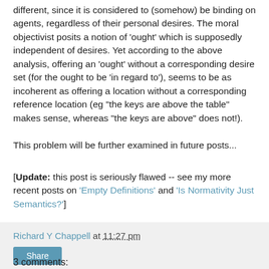different, since it is considered to (somehow) be binding on agents, regardless of their personal desires. The moral objectivist posits a notion of 'ought' which is supposedly independent of desires. Yet according to the above analysis, offering an 'ought' without a corresponding desire set (for the ought to be 'in regard to'), seems to be as incoherent as offering a location without a corresponding reference location (eg "the keys are above the table" makes sense, whereas "the keys are above" does not!).
This problem will be further examined in future posts...
[Update: this post is seriously flawed -- see my more recent posts on 'Empty Definitions' and 'Is Normativity Just Semantics?']
Richard Y Chappell at 11:27 pm
Share
3 comments: